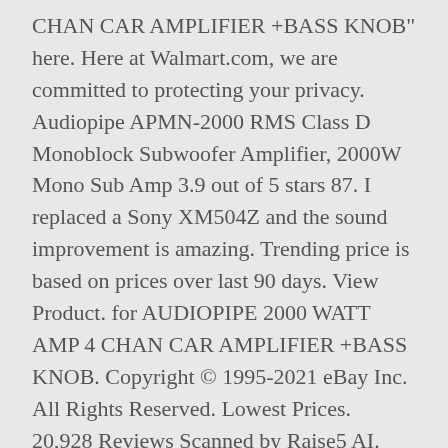CHAN CAR AMPLIFIER +BASS KNOB" here. Here at Walmart.com, we are committed to protecting your privacy. Audiopipe APMN-2000 RMS Class D Monoblock Subwoofer Amplifier, 2000W Mono Sub Amp 3.9 out of 5 stars 87. I replaced a Sony XM504Z and the sound improvement is amazing. Trending price is based on prices over last 90 days. View Product. for AUDIOPIPE 2000 WATT AMP 4 CHAN CAR AMPLIFIER +BASS KNOB. Copyright © 1995-2021 eBay Inc. All Rights Reserved. Lowest Prices. 20,928 Reviews Scanned by Raise5 AI. Find great deals on eBay for audiopipe amplifier and audiopipe amplifier mono. ... AUDIOPIPE 2000 WATT